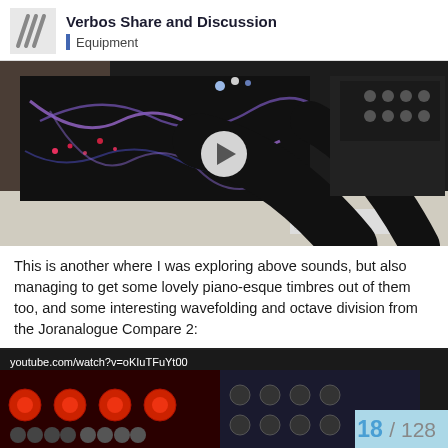Verbos Share and Discussion — Equipment
[Figure (photo): Person reaching into a large modular synthesizer setup with many cables, knobs, and modules. A play button overlay is visible in the center.]
This is another where I was exploring above sounds, but also managing to get some lovely piano-esque timbres out of them too, and some interesting wavefolding and octave division from the Joranalogue Compare 2:
[Figure (screenshot): YouTube video thumbnail showing a modular synthesizer rack with red and white modules, with URL youtube.com/watch?v=oKIuTFuYt00 and page number 18/128.]